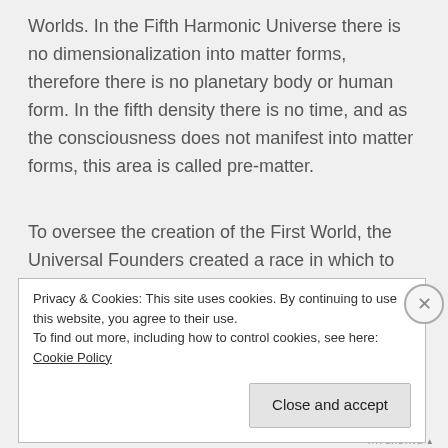Worlds. In the Fifth Harmonic Universe there is no dimensionalization into matter forms, therefore there is no planetary body or human form. In the fifth density there is no time, and as the consciousness does not manifest into matter forms, this area is called pre-matter.
To oversee the creation of the First World, the Universal Founders created a race in which to seed their consciousness through onto Tara, and this
Privacy & Cookies: This site uses cookies. By continuing to use this website, you agree to their use.
To find out more, including how to control cookies, see here: Cookie Policy